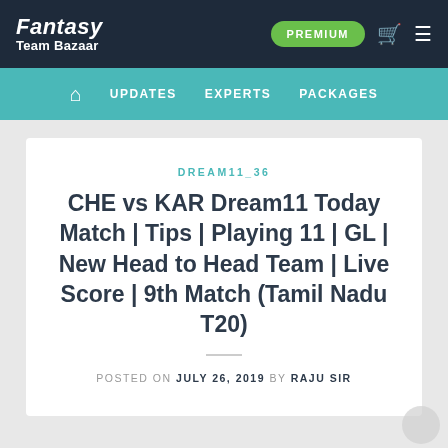Fantasy Team Bazaar | PREMIUM
UPDATES   EXPERTS   PACKAGES
DREAM11_36
CHE vs KAR Dream11 Today Match | Tips | Playing 11 | GL | New Head to Head Team | Live Score | 9th Match (Tamil Nadu T20)
POSTED ON JULY 26, 2019 BY RAJU SIR